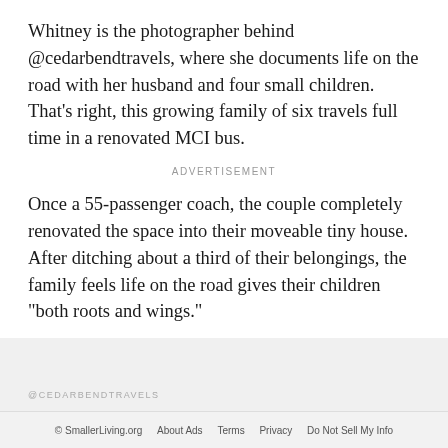Whitney is the photographer behind @cedarbendtravels, where she documents life on the road with her husband and four small children. That's right, this growing family of six travels full time in a renovated MCI bus.
ADVERTISEMENT
Once a 55-passenger coach, the couple completely renovated the space into their moveable tiny house. After ditching about a third of their belongings, the family feels life on the road gives their children "both roots and wings."
@CEDARBENDTRAVELS
© SmallerLiving.org  About Ads  Terms  Privacy  Do Not Sell My Info